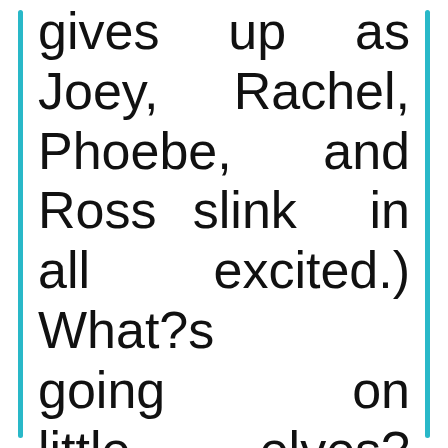gives up as Joey, Rachel, Phoebe, and Ross slink in all excited.) What□s going on little elves?